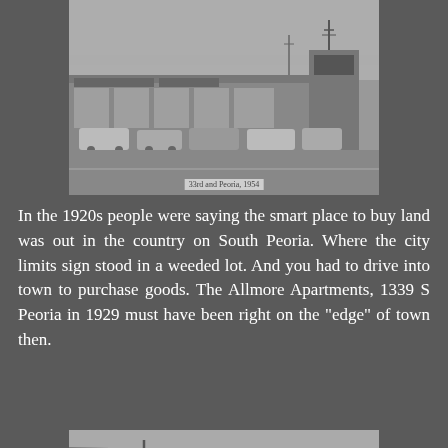[Figure (photo): Black and white photograph of a street scene at 33rd and Peoria, 1954, showing storefronts with cars parked along the street and utility poles in the background.]
33rd and Peoria, 1954
In the 1920s people were saying the smart place to buy land was out in the country on South Peoria. Where the city limits sign stood in a weeded lot. And you had to drive into town to purchase goods. The Allmore Apartments, 1339 S Peoria in 1929 must have been right on the "edge" of town then.
[Figure (photo): Black and white photograph of the Allmore Apartments building at 1339 S Peoria, a multi-story brick apartment building with battlemented roofline, arched entrance, and multiple windows on the facade.]